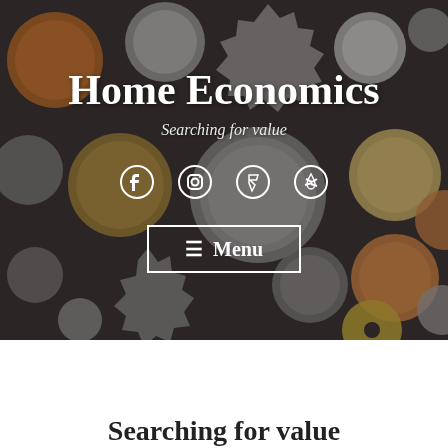[Figure (photo): A dark background covered with various international coins of different sizes, shapes, and metals (silver, gold, copper tones). The coins are spread across the entire background.]
Home Economics
Searching for value
[Figure (infographic): Social media icons: Facebook, Instagram, Foursquare, Yelp — displayed in white on the coin background]
☰ Menu
Searching for value